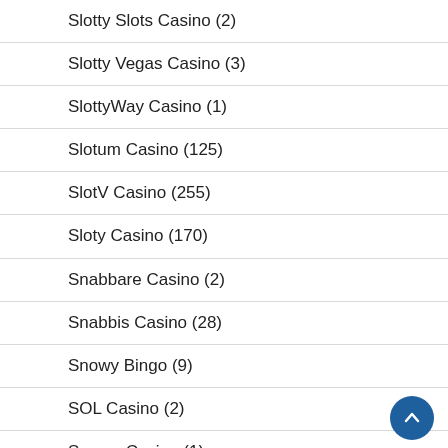Slotty Slots Casino (2)
Slotty Vegas Casino (3)
SlottyWay Casino (1)
Slotum Casino (125)
SlotV Casino (255)
Sloty Casino (170)
Snabbare Casino (2)
Snabbis Casino (28)
Snowy Bingo (9)
SOL Casino (2)
Somos Casino (1)
Sons of Slots Casino (104)
SpaceLilly Casino (9)
Spades Planet Casino (1)